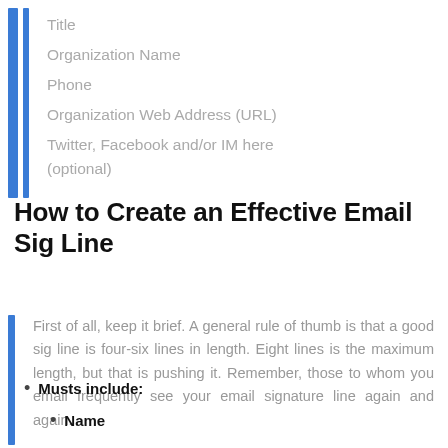Title
Organization Name
Phone
Organization Web Address (URL)
Twitter, Facebook and/or IM here (optional)
How to Create an Effective Email Sig Line
First of all, keep it brief. A general rule of thumb is that a good sig line is four-six lines in length. Eight lines is the maximum length, but that is pushing it. Remember, those to whom you email frequently see your email signature line again and again.
Musts include:
Name